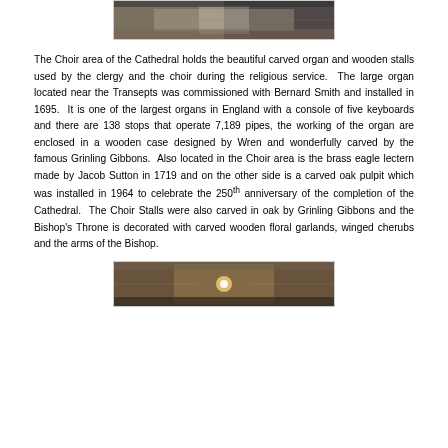[Figure (photo): Interior photograph of the Cathedral choir area showing wooden stalls and organ, viewed from above]
The Choir area of the Cathedral holds the beautiful carved organ and wooden stalls used by the clergy and the choir during the religious service.  The large organ located near the Transepts was commissioned with Bernard Smith and installed in 1695.  It is one of the largest organs in England with a console of five keyboards and there are 138 stops that operate 7,189 pipes, the working of the organ are enclosed in a wooden case designed by Wren and wonderfully carved by the famous Grinling Gibbons.  Also located in the Choir area is the brass eagle lectern made by Jacob Sutton in 1719 and on the other side is a carved oak pulpit which was installed in 1964 to celebrate the 250th anniversary of the completion of the Cathedral.  The Choir Stalls were also carved in oak by Grinling Gibbons and the Bishop's Throne is decorated with carved wooden floral garlands, winged cherubs and the arms of the Bishop.
[Figure (photo): Interior photograph of the Cathedral choir stalls with ornate decorations and lighting]